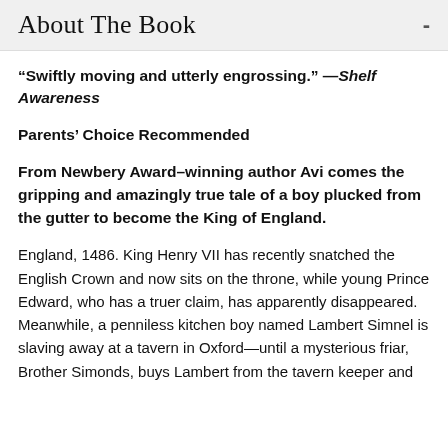About The Book
“Swiftly moving and utterly engrossing.” —Shelf Awareness
Parents’ Choice Recommended
From Newbery Award–winning author Avi comes the gripping and amazingly true tale of a boy plucked from the gutter to become the King of England.
England, 1486. King Henry VII has recently snatched the English Crown and now sits on the throne, while young Prince Edward, who has a truer claim, has apparently disappeared. Meanwhile, a penniless kitchen boy named Lambert Simnel is slaving away at a tavern in Oxford—until a mysterious friar, Brother Simonds, buys Lambert from the tavern keeper and